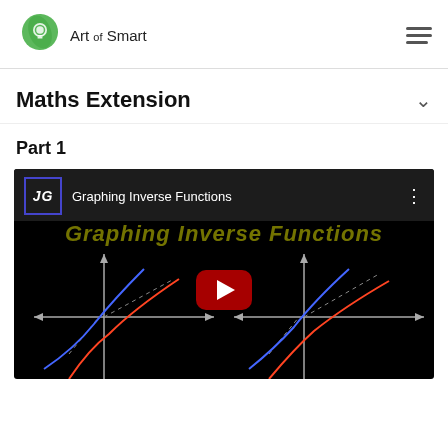[Figure (logo): Art of Smart logo with green leaf icon and text]
Maths Extension
Part 1
[Figure (screenshot): YouTube video thumbnail for 'Graphing Inverse Functions' showing coordinate axes with inverse function curves plotted in red and blue on a black background, with a red YouTube play button in the center]